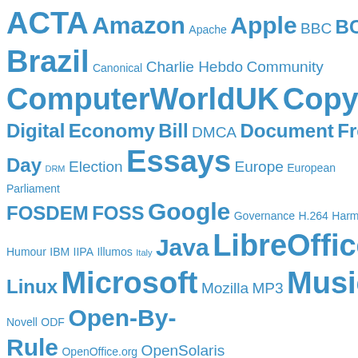[Figure (infographic): Tag cloud with words of varying sizes in blue, representing topics/categories. Larger words appear more frequently. Words include: ACTA, Amazon, Apache, Apple, BBC, BCS, blogs.sun.com, Brazil, Canonical, Charlie Hebdo, Community, ComputerWorldUK, Copyright, CWUK, Debill, Digital, Economy, Bill, DMCA, Document, Freedom, Day, DRM, Election, Essays, Europe, European Parliament, FOSDEM, FOSS, Google, Governance, H.264, Harmony, Humour, IBM, IIPA, Illumos, Italy, Java, LibreOffice, License, Linux, Microsoft, Mozilla, MP3, Music, MySQL, Novell, ODF, Open-By-Rule, OpenOffice.org, OpenSolaris, Open Source, Oracle, OSCON, OSI, Paris, Patent troll, Politics, Portland, Procurement, Security, Skype, Software]